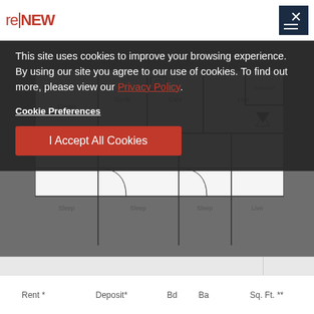re|NEW Durham
This site uses cookies to improve your browsing experience. By using our site you agree to our use of cookies. To find out more, please view our Privacy Policy.
Cookie Preferences
I Accept All Cookies
[Figure (engineering-diagram): Floor plan diagram of Durham apartment unit showing multiple rooms labeled Sleep, Live, Care, Cook with layout lines]
Durham
| Rent * | Deposit* | Bd | Ba | Sq. Ft. ** |
| --- | --- | --- | --- | --- |